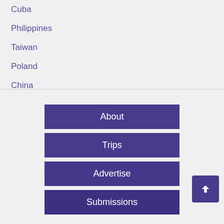Cuba
Philippines
Taiwan
Poland
China
About
Trips
Advertise
Submissions
Facebook   Twitter   Instagram